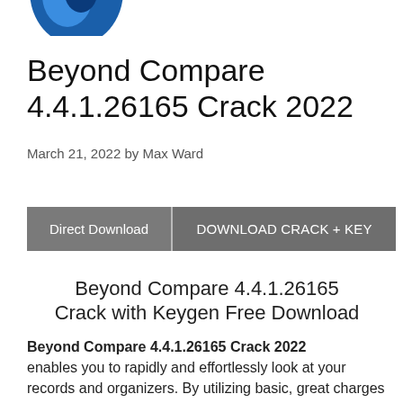[Figure (logo): Partial logo image — blue circular/rounded icon, cropped at top]
Beyond Compare 4.4.1.26165 Crack 2022
March 21, 2022 by Max Ward
Direct Download | DOWNLOAD CRACK + KEY
Beyond Compare 4.4.1.26165 Crack with Keygen Free Download
Beyond Compare 4.4.1.26165 Crack 2022 enables you to rapidly and effortlessly look at your records and organizers. By utilizing basic, great charges you can center around the distinctions and overlook the similarities...